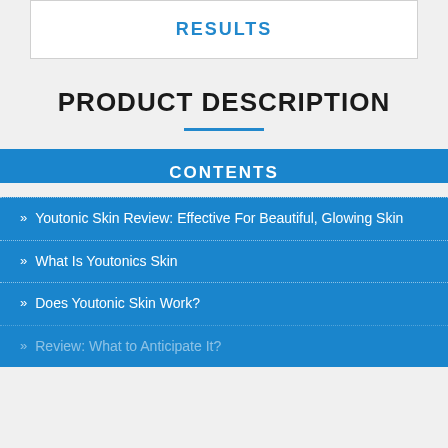RESULTS
PRODUCT DESCRIPTION
CONTENTS
Youtonic Skin Review: Effective For Beautiful, Glowing Skin
What Is Youtonics Skin
Does Youtonic Skin Work?
Review: What to Anticipate It?